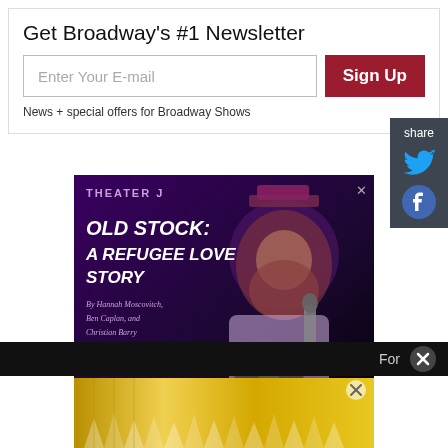Get Broadway's #1 Newsletter
Enter Your E-mail
Sign Up
News + special offers for Broadway Shows
share
[Figure (advertisement): Theater J advertisement for 'Old Stock: A Refugee Love Story' by Hannah Moscovitch, Ben Caplan, and Christian Barry. September 7-25, 2022. A Hit New Klezmer Musical. GET TICKETS button. Features a performer with curly red hair, top hat, and microphone.]
For
[Figure (advertisement): Gold/yellow decorative advertisement banner at bottom of page]